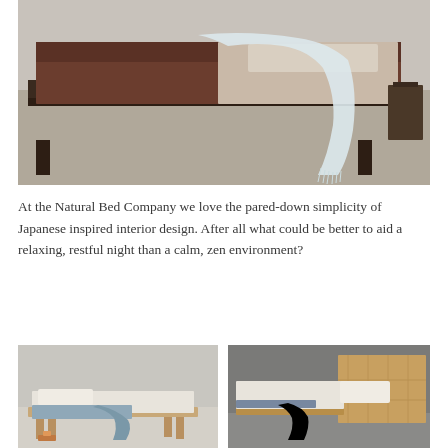[Figure (photo): A low Japanese-style platform bed with dark wooden frame, dark brown/chocolate mattress or bedding, and a light grey/white fringed throw blanket draped over the edge. The bed is photographed against a light grey wall and floor.]
At the Natural Bed Company we love the pared-down simplicity of Japanese inspired interior design. After all what could be better to aid a relaxing, restful night than a calm, zen environment?
[Figure (photo): A low platform bed with natural wooden legs and a light/white mattress, with a blue quilted throw blanket draped over it. Minimalist Japanese-inspired bedroom setting with light grey background.]
[Figure (photo): A wooden bed with a natural oak headboard and white bedding with a blue/grey blanket draped over the side. Dark concrete wall background.]